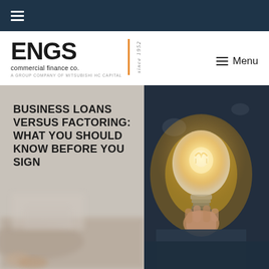≡ (navigation menu icon)
[Figure (logo): ENGS commercial finance co. logo with orange vertical bar divider and 'since 1952' text. Below: 'A GROUP COMPANY OF MITSUBISHI HC CAPITAL']
BUSINESS LOANS VERSUS FACTORING: WHAT YOU SHOULD KNOW BEFORE YOU SIGN
[Figure (photo): Split hero image: left side shows blurred office/laptop background, right side shows a person in dark clothing holding a glowing lightbulb against a dark background]